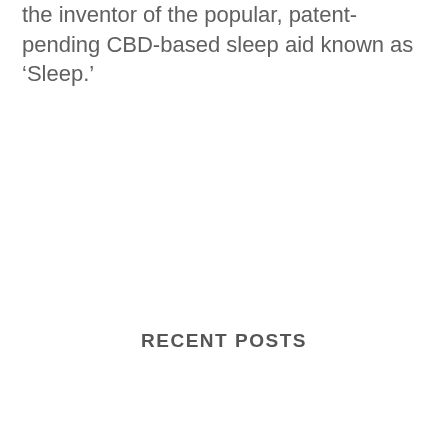the inventor of the popular, patent-pending CBD-based sleep aid known as ‘Sleep.’
RECENT POSTS